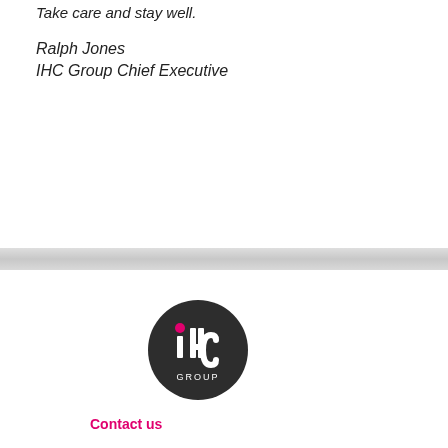Take care and stay well.
Ralph Jones
IHC Group Chief Executive
[Figure (logo): IHC Group circular logo: dark grey circle with white 'ihc' text and magenta dot, 'GROUP' text below in white]
Contact us